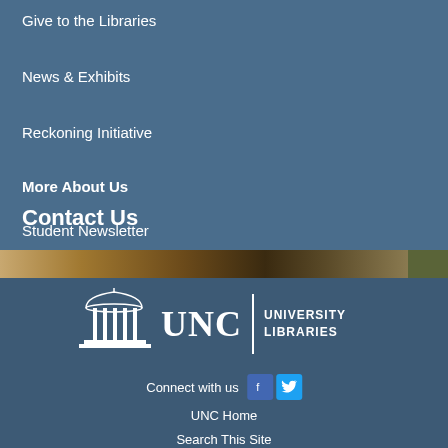Give to the Libraries
News & Exhibits
Reckoning Initiative
More About Us
Contact Us
Student Newsletter
[Figure (logo): UNC University Libraries logo with dome icon, text UNC and UNIVERSITY LIBRARIES]
Connect with us
UNC Home
Search This Site